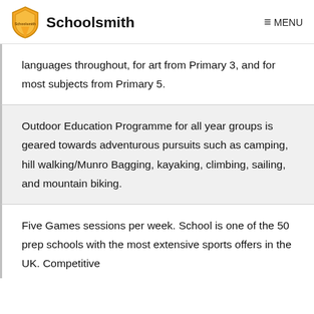Schoolsmith  ☰ MENU
languages throughout, for art from Primary 3, and for most subjects from Primary 5.
Outdoor Education Programme for all year groups is geared towards adventurous pursuits such as camping, hill walking/Munro Bagging, kayaking, climbing, sailing, and mountain biking.
Five Games sessions per week. School is one of the 50 prep schools with the most extensive sports offers in the UK. Competitive